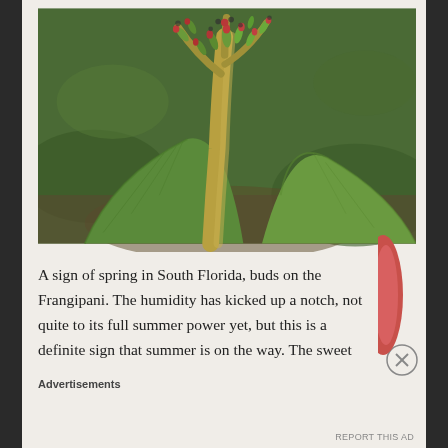[Figure (photo): Close-up photograph of a Frangipani plant showing red-tipped green buds at the top of a yellowish-brown stem with large green leaves, against a blurred green background.]
A sign of spring in South Florida, buds on the Frangipani. The humidity has kicked up a notch, not quite to its full summer power yet, but this is a definite sign that summer is on the way. The sweet
Advertisements